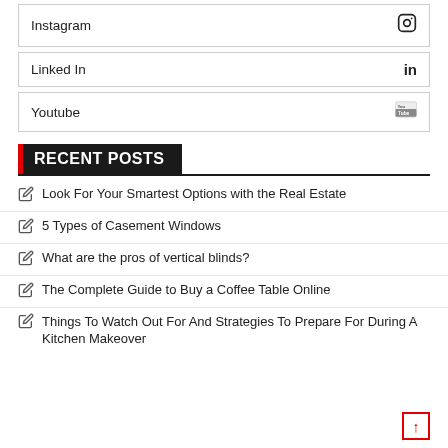Instagram
Linked In
Youtube
RECENT POSTS
Look For Your Smartest Options with the Real Estate
5 Types of Casement Windows
What are the pros of vertical blinds?
The Complete Guide to Buy a Coffee Table Online
Things To Watch Out For And Strategies To Prepare For During A Kitchen Makeover